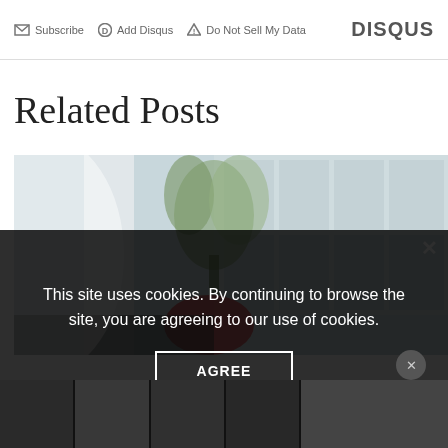Subscribe  Add Disqus  Do Not Sell My Data    DISQUS
Related Posts
[Figure (photo): A blurred office/lounge area with plants and windows in the background, with a red object in the foreground.]
This site uses cookies. By continuing to browse the site, you are agreeing to our use of cookies.
AGREE